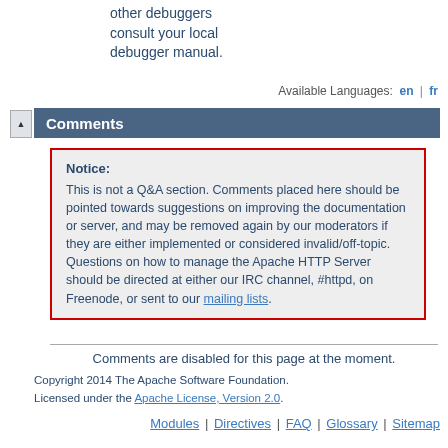other debuggers consult your local debugger manual.
Available Languages: en | fr
Comments
Notice:
This is not a Q&A section. Comments placed here should be pointed towards suggestions on improving the documentation or server, and may be removed again by our moderators if they are either implemented or considered invalid/off-topic. Questions on how to manage the Apache HTTP Server should be directed at either our IRC channel, #httpd, on Freenode, or sent to our mailing lists.
Comments are disabled for this page at the moment.
Copyright 2014 The Apache Software Foundation.
Licensed under the Apache License, Version 2.0.
Modules | Directives | FAQ | Glossary | Sitemap